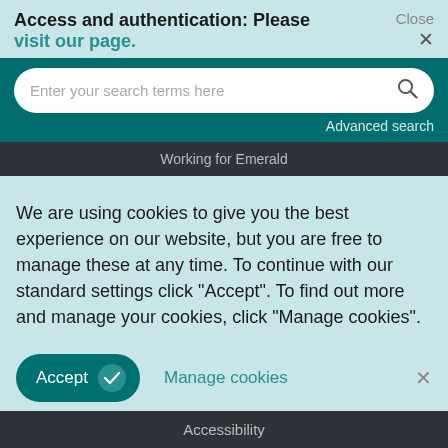Access and authentication: Please visit our page.
Close ×
[Figure (screenshot): Search bar with placeholder text 'Enter your search terms here' and a search icon, on a teal background with 'Advanced search' link below]
Working for Emerald
We are using cookies to give you the best experience on our website, but you are free to manage these at any time. To continue with our standard settings click "Accept". To find out more and manage your cookies, click "Manage cookies".
Accept ✓   Manage cookies   ×
Accessibility